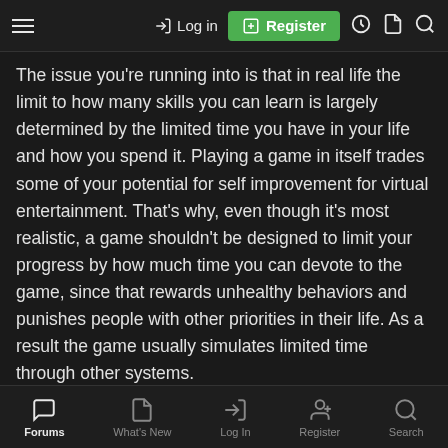Log in | Register
The issue you're running into is that in real life the limit to how many skills you can learn is largely determined by the limited time you have in your life and how you spend it. Playing a game in itself trades some of your potential for self improvement for virtual entertainment. That's why, even though it's most realistic, a game shouldn't be designed to limit your progress by how much time you can devote to the game, since that rewards unhealthy behaviors and punishes people with other priorities in their life. As a result the game usually simulates limited time through other systems.
Experience points aren't meant to imply that you simply get better at whatever you want by killing monsters, they are meant to let you engage with the most interesting and adventurous portion of your character's life, and then proportionally awards you with points to
Forums | What's New | Log In | Register | Search